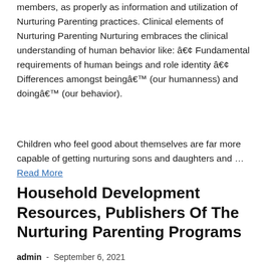members, as properly as information and utilization of Nurturing Parenting practices. Clinical elements of Nurturing Parenting Nurturing embraces the clinical understanding of human behavior like: • Fundamental requirements of human beings and role identity • Differences amongst being… (our humanness) and doing… (our behavior).
Children who feel good about themselves are far more capable of getting nurturing sons and daughters and … Read More
Household Development Resources, Publishers Of The Nurturing Parenting Programs
admin - September 6, 2021